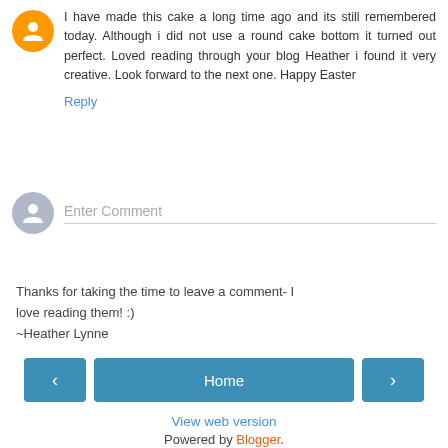I have made this cake a long time ago and its still remembered today. Although i did not use a round cake bottom it turned out perfect. Loved reading through your blog Heather i found it very creative. Look forward to the next one. Happy Easter
Reply
Enter Comment
Thanks for taking the time to leave a comment- I love reading them! :)
~Heather Lynne
Home
View web version
Powered by Blogger.